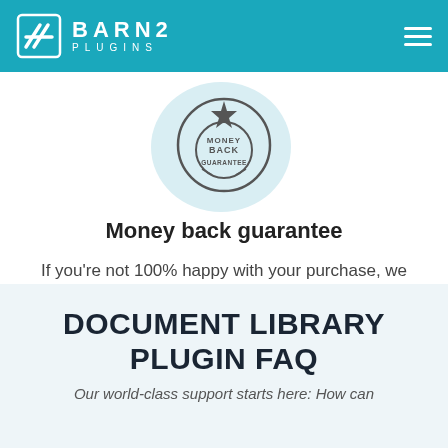BARN2 PLUGINS
[Figure (illustration): Money back guarantee badge/stamp with circular light blue background]
Money back guarantee
If you're not 100% happy with your purchase, we offer a full 30 day money back guarantee. No questions asked.
DOCUMENT LIBRARY PLUGIN FAQ
Our world-class support starts here: How can